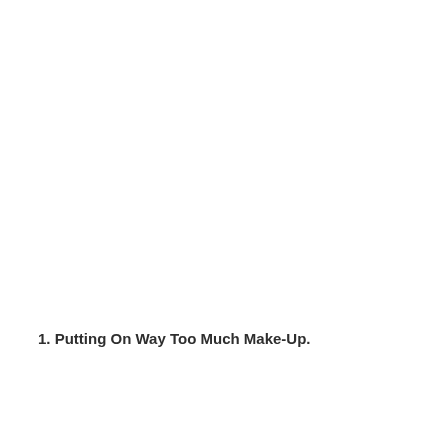1. Putting On Way Too Much Make-Up.